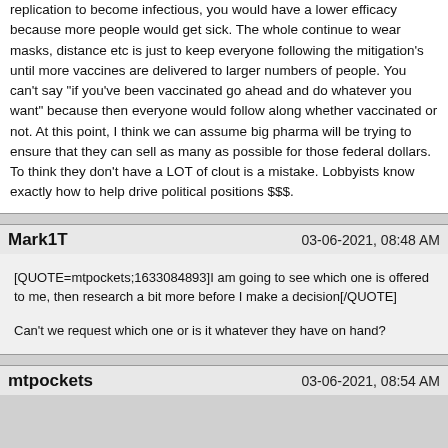replication to become infectious, you would have a lower efficacy because more people would get sick. The whole continue to wear masks, distance etc is just to keep everyone following the mitigation's until more vaccines are delivered to larger numbers of people. You can't say "if you've been vaccinated go ahead and do whatever you want" because then everyone would follow along whether vaccinated or not. At this point, I think we can assume big pharma will be trying to ensure that they can sell as many as possible for those federal dollars. To think they don't have a LOT of clout is a mistake. Lobbyists know exactly how to help drive political positions $$$.
Mark1T
03-06-2021, 08:48 AM
[QUOTE=mtpockets;1633084893]I am going to see which one is offered to me, then research a bit more before I make a decision[/QUOTE]
Can't we request which one or is it whatever they have on hand?
mtpockets
03-06-2021, 08:54 AM